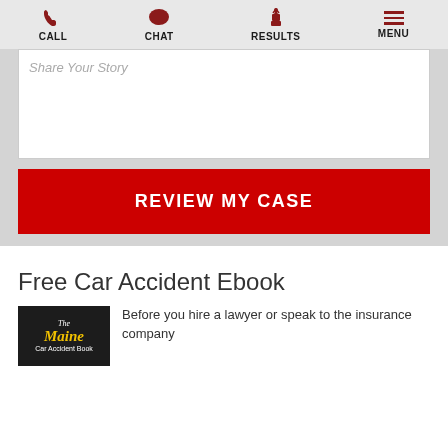CALL | CHAT | RESULTS | MENU
[Figure (screenshot): Text area input field with placeholder text 'Share Your Story']
REVIEW MY CASE
Free Car Accident Ebook
[Figure (photo): The Maine Car Accident Book cover image]
Before you hire a lawyer or speak to the insurance company